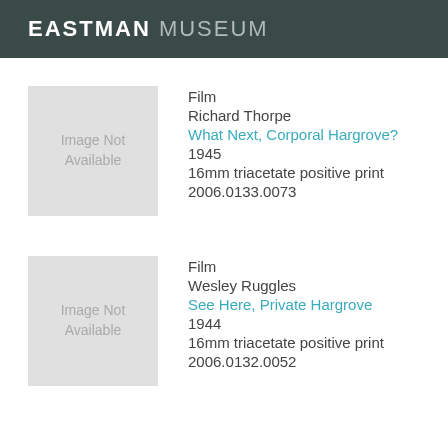EASTMAN MUSEUM
[Figure (illustration): Gray placeholder box reading 'Image Not Available']
Film
Richard Thorpe
What Next, Corporal Hargrove?
1945
16mm triacetate positive print
2006.0133.0073
[Figure (illustration): Gray placeholder box reading 'Image Not Available']
Film
Wesley Ruggles
See Here, Private Hargrove
1944
16mm triacetate positive print
2006.0132.0052